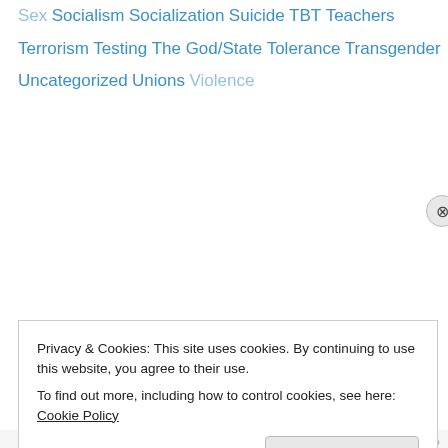Sex
Socialism
Socialization
Suicide
TBT
Teachers
Terrorism
Testing
The God/State
Tolerance
Transgender
Uncategorized
Unions
Violence
Privacy & Cookies: This site uses cookies. By continuing to use this website, you agree to their use.
To find out more, including how to control cookies, see here: Cookie Policy